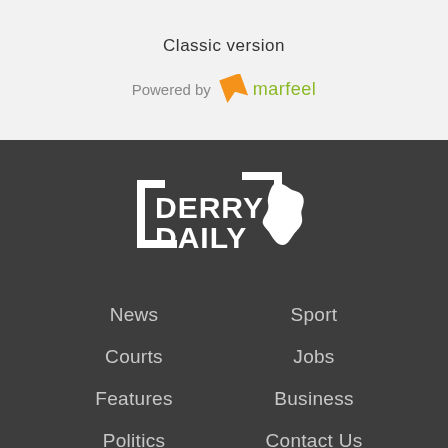Classic version
[Figure (logo): Powered by marfeel logo with orange bookmark icon and green marfeel text]
[Figure (logo): Derry Daily logo in white on dark grey background, with white map silhouette of Derry county]
News
Sport
Courts
Jobs
Features
Business
Politics
Contact Us